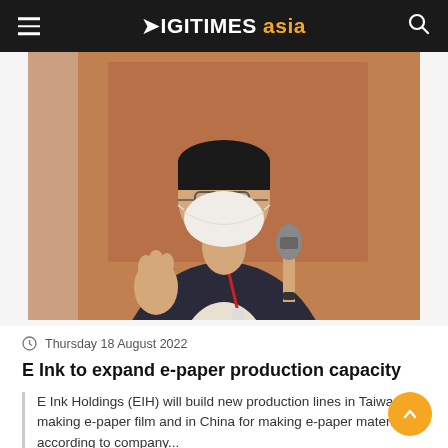DIGITIMES asia
[Figure (photo): A man in a dark suit wearing a white face mask and glasses holds a microphone and gestures with one hand, speaking at an event. He wears a red lanyard badge. The background is brownish/orange.]
Thursday 18 August 2022
E Ink to expand e-paper production capacity
E Ink Holdings (EIH) will build new production lines in Taiwan for making e-paper film and in China for making e-paper materials, according to company...